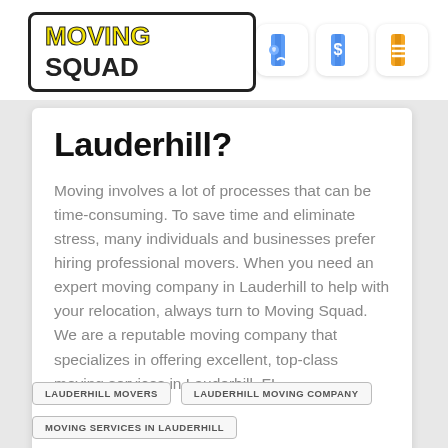MOVING SQUAD
Lauderhill?
Moving involves a lot of processes that can be time-consuming. To save time and eliminate stress, many individuals and businesses prefer hiring professional movers. When you need an expert moving company in Lauderhill to help with your relocation, always turn to Moving Squad. We are a reputable moving company that specializes in offering excellent, top-class moving services in Lauderhill, FL. ...
Read More
LAUDERHILL MOVERS
LAUDERHILL MOVING COMPANY
MOVING SERVICES IN LAUDERHILL